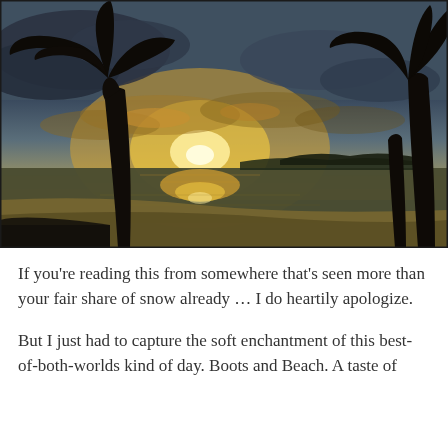[Figure (photo): A tropical beach sunset scene photographed between silhouetted palm trees. The sky is dramatic with golden light breaking through clouds on the horizon, reflecting off calm water. A sandy shoreline and distant landmass are visible. The overall tone is warm gold and deep blue-grey.]
If you're reading this from somewhere that's seen more than your fair share of snow already … I do heartily apologize.
But I just had to capture the soft enchantment of this best-of-both-worlds kind of day. Boots and Beach. A taste of